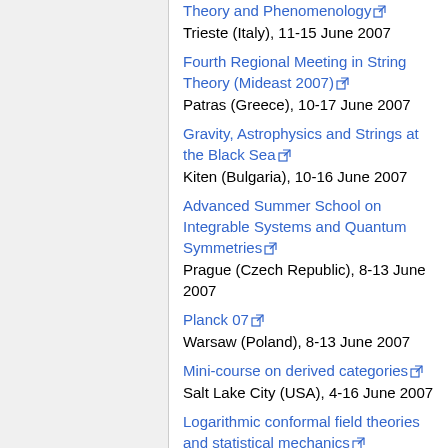Theory and Phenomenology
Trieste (Italy), 11-15 June 2007
Fourth Regional Meeting in String Theory (Mideast 2007)
Patras (Greece), 10-17 June 2007
Gravity, Astrophysics and Strings at the Black Sea
Kiten (Bulgaria), 10-16 June 2007
Advanced Summer School on Integrable Systems and Quantum Symmetries
Prague (Czech Republic), 8-13 June 2007
Planck 07
Warsaw (Poland), 8-13 June 2007
Mini-course on derived categories
Salt Lake City (USA), 4-16 June 2007
Logarithmic conformal field theories and statistical mechanics